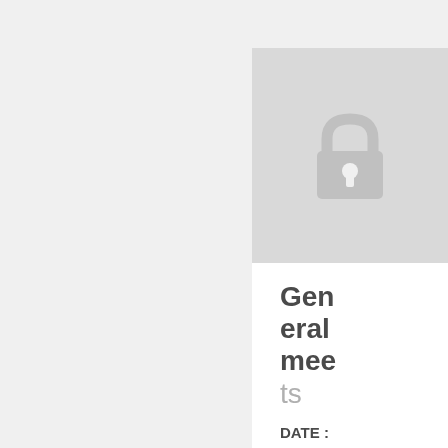[Figure (illustration): A padlock icon centered on a light gray background, representing a locked/restricted document.]
General meets
DATE : 1963-02-14